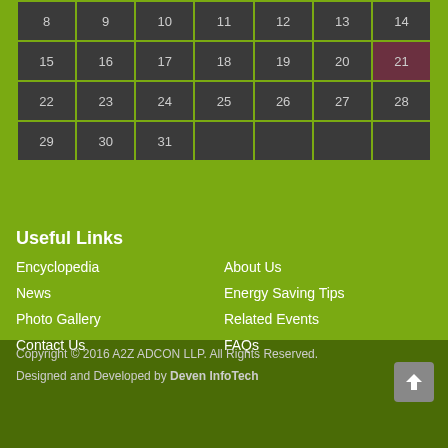| 8 | 9 | 10 | 11 | 12 | 13 | 14 |
| --- | --- | --- | --- | --- | --- | --- |
| 15 | 16 | 17 | 18 | 19 | 20 | 21 |
| 22 | 23 | 24 | 25 | 26 | 27 | 28 |
| 29 | 30 | 31 |  |  |  |  |
Useful Links
Encyclopedia
News
Photo Gallery
Contact Us
About Us
Energy Saving Tips
Related Events
FAQs
Copyright © 2016 A2Z ADCON LLP. All Rights Reserved. Designed and Developed by Deven InfoTech